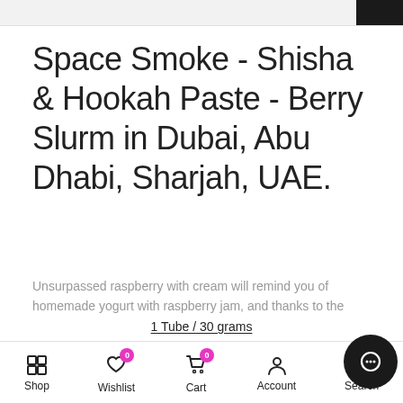Space Smoke - Shisha & Hookah Paste - Berry Slurm in Dubai, Abu Dhabi, Sharjah, UAE.
Unsurpassed raspberry with cream will remind you of homemade yogurt with raspberry jam, and thanks to the
1 Tube / 30 grams
ADD TO CART
Shop  Wishlist  Cart  Account  Search